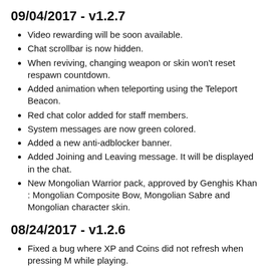09/04/2017 - v1.2.7
Video rewarding will be soon available.
Chat scrollbar is now hidden.
When reviving, changing weapon or skin won't reset respawn countdown.
Added animation when teleporting using the Teleport Beacon.
Red chat color added for staff members.
System messages are now green colored.
Added a new anti-adblocker banner.
Added Joining and Leaving message. It will be displayed in the chat.
New Mongolian Warrior pack, approved by Genghis Khan : Mongolian Composite Bow, Mongolian Sabre and Mongolian character skin.
08/24/2017 - v1.2.6
Fixed a bug where XP and Coins did not refresh when pressing M while playing.
You can now close the in-game menu and also exit to the main menu while playing.
Fixed a bug where bombs did not reset player score when